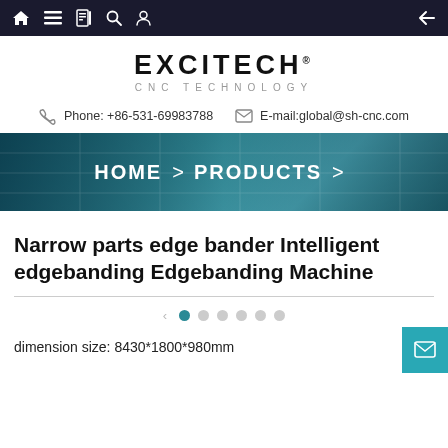Navigation bar with home, menu, document, search, account icons and back arrow
[Figure (logo): EXCITECH CNC TECHNOLOGY logo]
Phone: +86-531-69983788   E-mail:global@sh-cnc.com
[Figure (screenshot): Banner with CNC machine background showing HOME > PRODUCTS >]
Narrow parts edge bander Intelligent edgebanding Edgebanding Machine
dimension size: 8430*1800*980mm